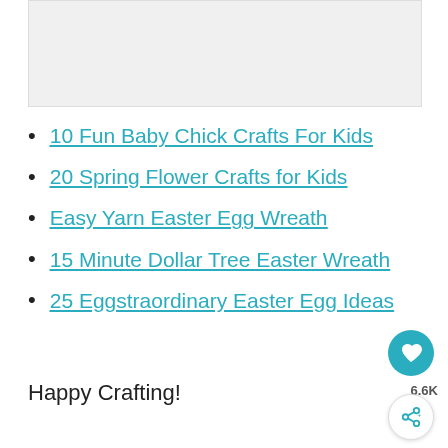[Figure (photo): Image placeholder at the top of the page]
10 Fun Baby Chick Crafts For Kids
20 Spring Flower Crafts for Kids
Easy Yarn Easter Egg Wreath
15 Minute Dollar Tree Easter Wreath
25 Eggstraordinary Easter Egg Ideas
Happy Crafting!